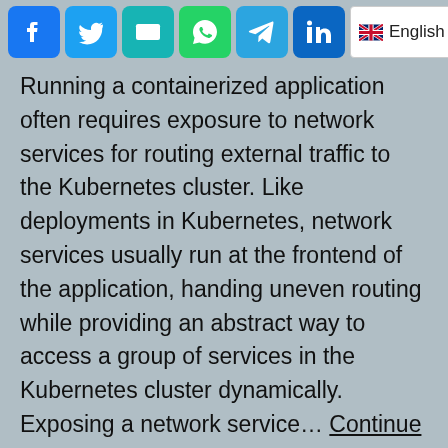[Figure (screenshot): Row of social share icon buttons: Facebook (blue), Twitter (blue), Email (teal), WhatsApp (green), Telegram (blue), LinkedIn (blue-teal), and partial others. A language selector showing 'English' with UK flag is visible on the right.]
Running a containerized application often requires exposure to network services for routing external traffic to the Kubernetes cluster. Like deployments in Kubernetes, network services usually run at the frontend of the application, handing uneven routing while providing an abstract way to access a group of services in the Kubernetes cluster dynamically. Exposing a network service… Continue reading
[Figure (screenshot): Row of social share icon buttons at bottom: Facebook (blue), Twitter (blue), Email (teal), WhatsApp (green), Telegram (blue), LinkedIn (blue-teal), link/copy (blue), print (green), plus/more (blue).]